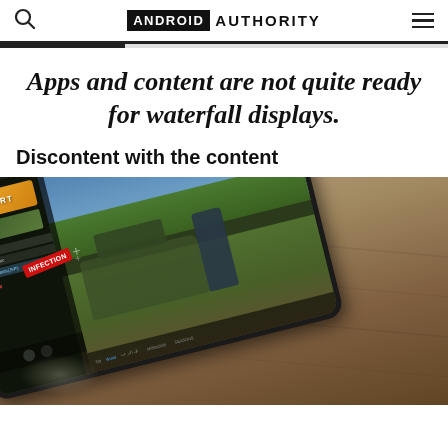ANDROID AUTHORITY
Apps and content are not quite ready for waterfall displays.
Discontent with the content
[Figure (photo): A smartphone or tablet lying at an angle on a wooden table, displaying a mobile battle royale game (PUBG-like) with an 'INFECTION' game mode label visible, showing a game scene with a military vehicle, character, grass field and sky, with game UI menus on the left side of the screen.]